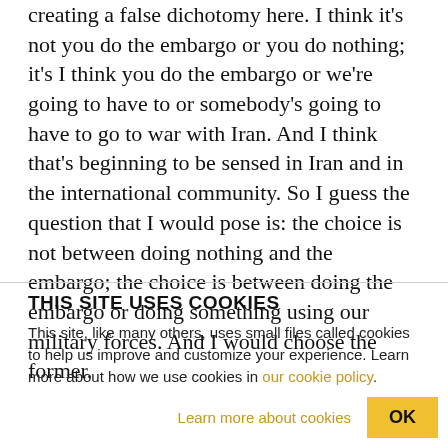creating a false dichotomy here. I think it's not you do the embargo or you do nothing; it's I think you do the embargo or we're going to have to or somebody's going to have to go to war with Iran. And I think that's beginning to be sensed in Iran and in the international community. So I guess the question that I would pose is: the choice is not between doing nothing and the embargo; the choice is between doing the embargo or doing something using our military forces. And I would choose the former.
THIS SITE USES COOKIES
This site, like many others, uses small files called cookies to help us improve and customize your experience. Learn more about how we use cookies in our cookie policy.
Learn more about cookies
OK